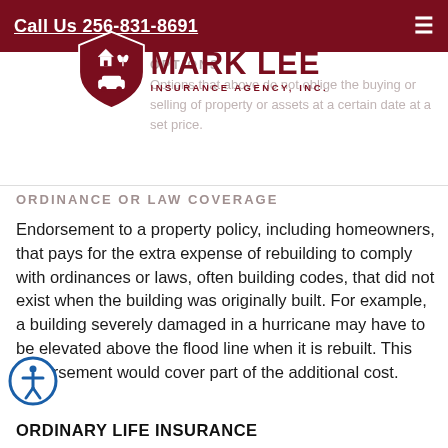Call Us 256-831-8691
[Figure (logo): Mark Lee Insurance Agency, Inc. shield logo with house, car, and other icons in dark red/maroon color]
OPTIONS
Options that above do not oblige the buying or selling of property or assets at a certain date at a set price.
ORDINANCE OR LAW COVERAGE
Endorsement to a property policy, including homeowners, that pays for the extra expense of rebuilding to comply with ordinances or laws, often building codes, that did not exist when the building was originally built. For example, a building severely damaged in a hurricane may have to be elevated above the flood line when it is rebuilt. This endorsement would cover part of the additional cost.
ORDINARY LIFE INSURANCE